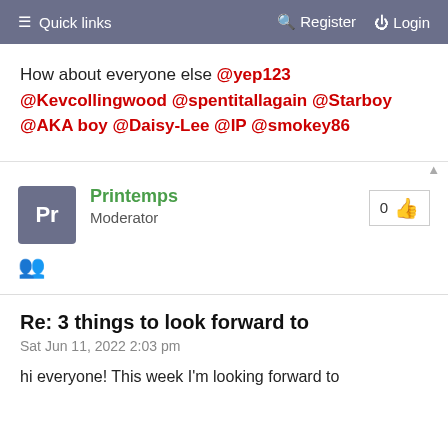≡ Quick links   Register   Login
How about everyone else @yep123 @Kevcollingwood @spentitallagain @Starboy @AKA boy @Daisy-Lee @IP @smokey86
Printemps
Moderator
0 👍
👥
Re: 3 things to look forward to
Sat Jun 11, 2022 2:03 pm
hi everyone! This week I'm looking forward to